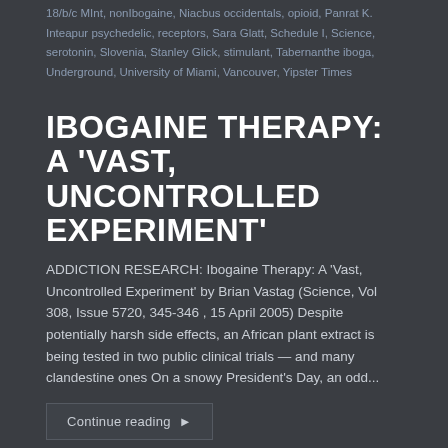18/b/c MInt, nonIbogaine, Niacbus occidentals, opioid, Panrat K. Inteapur psychedelic, receptors, Sara Glatt, Schedule I, Science, serotonin, Slovenia, Stanley Glick, stimulant, Tabernanthe iboga, Underground, University of Miami, Vancouver, Yipster Times
IBOGAINE THERAPY: A 'VAST, UNCONTROLLED EXPERIMENT'
ADDICTION RESEARCH: Ibogaine Therapy: A 'Vast, Uncontrolled Experiment' by Brian Vastag (Science, Vol 308, Issue 5720, 345-346 , 15 April 2005) Despite potentially harsh side effects, an African plant extract is being tested in two public clinical trials — and many clandestine ones On a snowy President's Day, an odd...
Continue reading ▶
Ibogaine  May 18, 2014
18-MC, Addiction, alcohol, Boaz Wachtel, Brian Vastag, Bwiti, cocaine